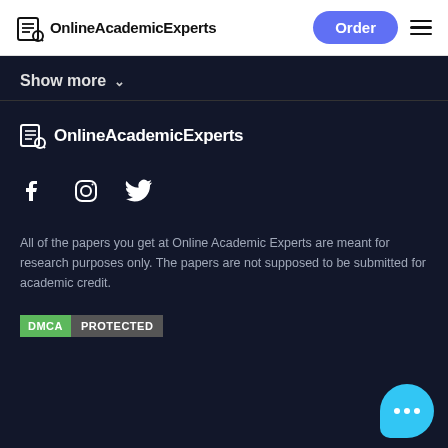OnlineAcademicExperts — Order
Show more
[Figure (logo): OnlineAcademicExperts logo with document icon, white text on dark background]
[Figure (infographic): Social media icons: Facebook, Instagram, Twitter]
All of the papers you get at Online Academic Experts are meant for research purposes only. The papers are not supposed to be submitted for academic credit.
[Figure (other): DMCA PROTECTED badge — green DMCA label and grey PROTECTED label]
[Figure (other): Blue chat bubble with three white dots]